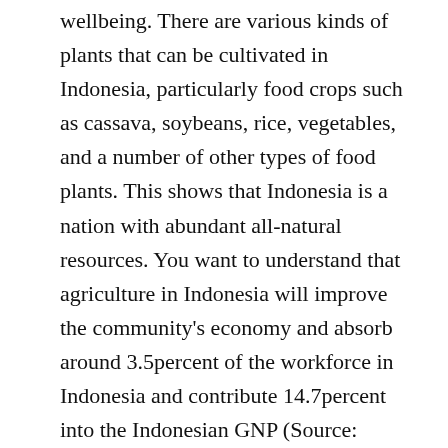wellbeing. There are various kinds of plants that can be cultivated in Indonesia, particularly food crops such as cassava, soybeans, rice, vegetables, and a number of other types of food plants. This shows that Indonesia is a nation with abundant all-natural resources. You want to understand that agriculture in Indonesia will improve the community's economy and absorb around 3.5percent of the workforce in Indonesia and contribute 14.7percent into the Indonesian GNP (Source: BPS, 2012).
#Agricultural Property For Business Corn Farming
Talking of agricultural property, Indonesia gets